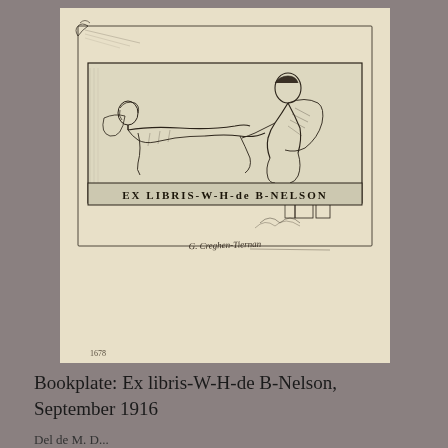[Figure (illustration): A scanned bookplate etching showing a reclining nude figure on the left and a seated figure on the right, within a rectangular border. Below the scene is text reading 'EX LIBRIS-W-H-de B-NELSON'. Below the border is an artist's signature. The etching is mounted on cream-colored paper.]
Bookplate: Ex libris-W-H-de B-Nelson, September 1916
Del de M. D...